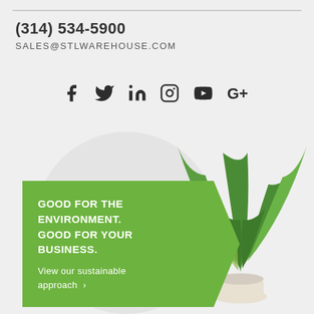(314) 534-5900
SALES@STLWAREHOUSE.COM
[Figure (infographic): Social media icons row: Facebook, Twitter, LinkedIn, Instagram, YouTube, Google+]
[Figure (photo): A green leafy plant in a white pot on the right side of the page, with a grey circle behind it]
GOOD FOR THE ENVIRONMENT. GOOD FOR YOUR BUSINESS. View our sustainable approach >